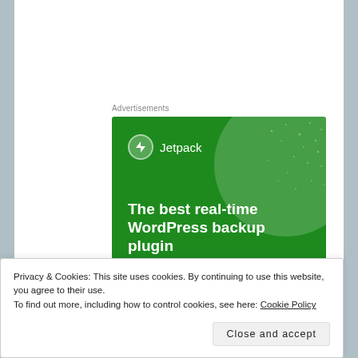Advertisements
[Figure (screenshot): Jetpack advertisement banner with green background. Shows Jetpack logo (lightning bolt icon) and name at top, large white circle decoration, headline 'The best real-time WordPress backup plugin', and a white 'Back up your site' button.]
Privacy & Cookies: This site uses cookies. By continuing to use this website, you agree to their use.
To find out more, including how to control cookies, see here: Cookie Policy
Close and accept